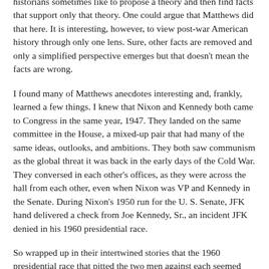historians sometimes like to propose a theory and then find facts that support only that theory. One could argue that Matthews did that here. It is interesting, however, to view post-war American history through only one lens. Sure, other facts are removed and only a simplified perspective emerges but that doesn't mean the facts are wrong.
I found many of Matthews anecdotes interesting and, frankly, learned a few things. I knew that Nixon and Kennedy both came to Congress in the same year, 1947. They landed on the same committee in the House, a mixed-up pair that had many of the same ideas, outlooks, and ambitions. They both saw communism as the global threat it was back in the early days of the Cold War. They conversed in each other's offices, as they were across the hall from each other, even when Nixon was VP and Kennedy in the Senate. During Nixon's 1950 run for the U. S. Senate, JFK hand delivered a check from Joe Kennedy, Sr., an incident JFK denied in his 1960 presidential race.
So wrapped up in their intertwined stories that the 1960 presidential race that pitted the two men against each seemed almost destined by fate. Two friends, two allies...